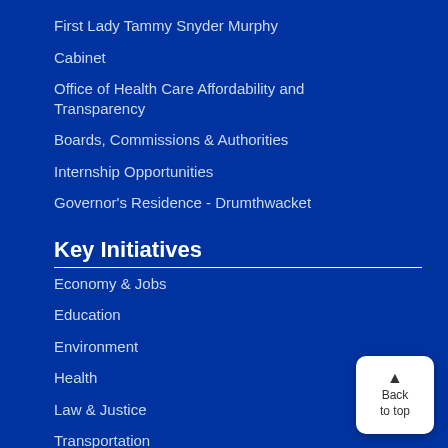First Lady Tammy Snyder Murphy
Cabinet
Office of Health Care Affordability and Transparency
Boards, Commissions & Authorities
Internship Opportunities
Governor's Residence - Drumthwacket
Key Initiatives
Economy & Jobs
Education
Environment
Health
Law & Justice
Transportation